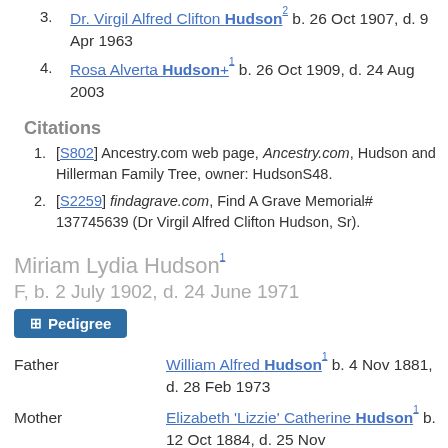3. Dr. Virgil Alfred Clifton Hudson b. 26 Oct 1907, d. 9 Apr 1963
4. Rosa Alverta Hudson b. 26 Oct 1909, d. 24 Aug 2003
Citations
1. [S802] Ancestry.com web page, Ancestry.com, Hudson and Hillerman Family Tree, owner: HudsonS48.
2. [S2259] findagrave.com, Find A Grave Memorial# 137745639 (Dr Virgil Alfred Clifton Hudson, Sr).
Miriam Lydia Hudson
F, b. 2 July 1902, d. 24 June 1971
Pedigree
Father
William Alfred Hudson b. 4 Nov 1881, d. 28 Feb 1973
Mother
Elizabeth 'Lizzie' Catherine Hudson b. 12 Oct 1884, d. 25 Nov